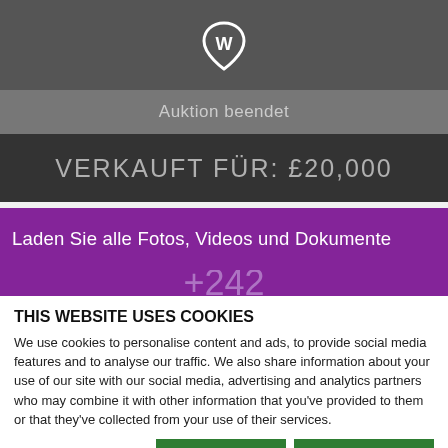[Figure (logo): White shield/w logo icon on dark grey background]
Auktion beendet
VERKAUFT FÜR: £20,000
Laden Sie alle Fotos, Videos und Dokumente
THIS WEBSITE USES COOKIES
We use cookies to personalise content and ads, to provide social media features and to analyse our traffic. We also share information about your use of our site with our social media, advertising and analytics partners who may combine it with other information that you've provided to them or that they've collected from your use of their services.
Allow selection | Allow all cookies
NECESSARY  PREFERENCES  STATISTICS  MARKETING  Show details